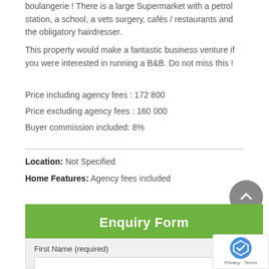boulangerie ! There is a large Supermarket with a petrol station, a school, a vets surgery, cafés / restaurants and the obligatory hairdresser.
This property would make a fantastic business venture if you were interested in running a B&B. Do not miss this !
Price including agency fees : 172 800
Price excluding agency fees : 160 000
Buyer commission included: 8%
Location: Not Specified
Home Features: Agency fees included
Enquiry Form
First Name (required)